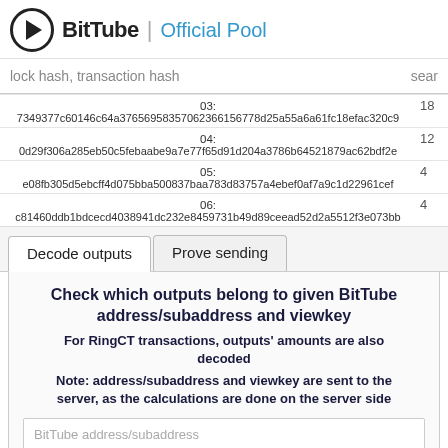BitTube | Official Pool
lock hash, transaction hash  sear
| # | Hash | Value |
| --- | --- | --- |
| 03: | 7349377c60146c64a376569583570623661567788d25a55a6a61fc18efac320c9 | 18 |
| 04: | 0d29f306a285eb50c5febaabe9a7e77f65d91d204a3786b64521879ac62bdf2e | 12 |
| 05: | e08fb305d5ebcff4d075bba500837baa783d83757a4ebef0af7a9c1d22961cef | 4 |
| 06: | c81460ddb1bdcecd4038941dc232e8459731b49d89ceead52d2a5512f3e073bb | 4 |
Decode outputs  Prove sending
Check which outputs belong to given BitTube address/subaddress and viewkey
For RingCT transactions, outputs' amounts are also decoded
Note: address/subaddress and viewkey are sent to the server, as the calculations are done on the server side
BitTube address/subaddress
Private viewkey